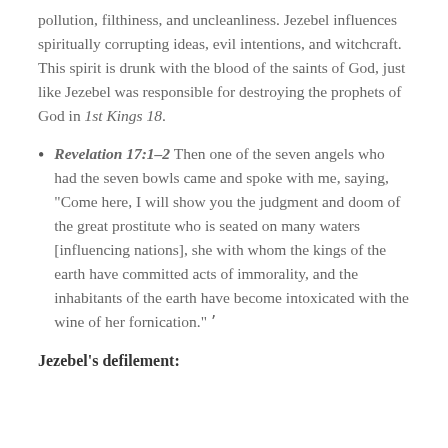pollution, filthiness, and uncleanliness. Jezebel influences spiritually corrupting ideas, evil intentions, and witchcraft. This spirit is drunk with the blood of the saints of God, just like Jezebel was responsible for destroying the prophets of God in 1st Kings 18.
Revelation 17:1-2 Then one of the seven angels who had the seven bowls came and spoke with me, saying, “Come here, I will show you the judgment and doom of the great prostitute who is seated on many waters [influencing nations], she with whom the kings of the earth have committed acts of immorality, and the inhabitants of the earth have become intoxicated with the wine of her fornication.” ’
Jezebel’s defilement: